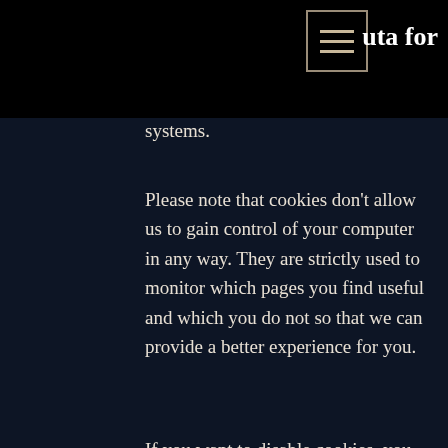uta for
systems.
Please note that cookies don't allow us to gain control of your computer in any way. They are strictly used to monitor which pages you find useful and which you do not so that we can provide a better experience for you.
If you want to disable cookies, you can do it by accessing the settings of your internet browser. (Provide links for cookie settings for major internet browsers).
NEW
Books by Tas